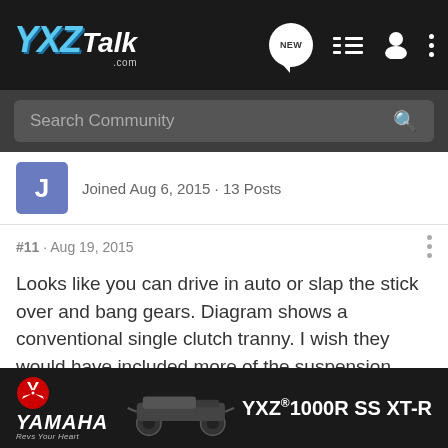YXZTalk.com - Search Community
Joined Aug 6, 2015 · 13 Posts
#11 · Aug 19, 2015
Looks like you can drive in auto or slap the stick over and bang gears. Diagram shows a conventional single clutch tranny. I wish they would have included more of the suspension info. They tell you all about the roll bar cross beams though! lol
[Figure (screenshot): Yamaha YXZ 1000R SS XT-R advertisement banner at the bottom of the page]